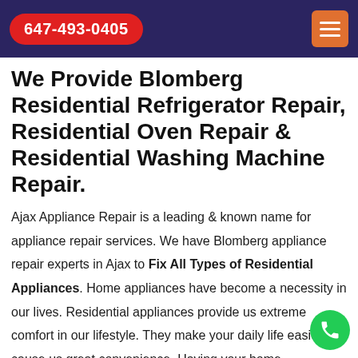647-493-0405
We Provide Blomberg Residential Refrigerator Repair, Residential Oven Repair & Residential Washing Machine Repair.
Ajax Appliance Repair is a leading & known name for appliance repair services. We have Blomberg appliance repair experts in Ajax to Fix All Types of Residential Appliances. Home appliances have become a necessity in our lives. Residential appliances provide us extreme comfort in our lifestyle. They make your daily life easie cause us great convenience. Having your home